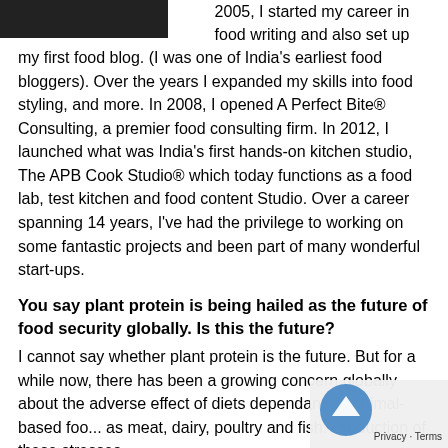[Figure (photo): Top portion of a photo showing a person's hands/arms, dark background, cropped at top of page]
2005, I started my career in food writing and also set up my first food blog. (I was one of India's earliest food bloggers). Over the years I expanded my skills into food styling, and more. In 2008, I opened A Perfect Bite® Consulting, a premier food consulting firm. In 2012, I launched what was India's first hands-on kitchen studio, The APB Cook Studio® which today functions as a food lab, test kitchen and food content Studio. Over a career spanning 14 years, I've had the privilege to working on some fantastic projects and been part of many wonderful start-ups.
You say plant protein is being hailed as the future of food security globally. Is this the future?
I cannot say whether plant protein is the future. But for a while now, there has been a growing concern globally about the adverse effect of diets dependant on animal-based foo... as meat, dairy, poultry and fish. Production of these stresses...